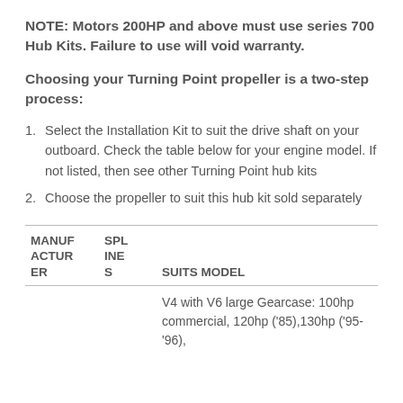NOTE: Motors 200HP and above must use series 700 Hub Kits. Failure to use will void warranty.
Choosing your Turning Point propeller is a two-step process:
Select the Installation Kit to suit the drive shaft on your outboard. Check the table below for your engine model. If not listed, then see other Turning Point hub kits
Choose the propeller to suit this hub kit sold separately
| MANUFACTURER | SPLINES | SUITS MODEL |
| --- | --- | --- |
|  |  | V4 with V6 large Gearcase: 100hp commercial, 120hp ('85),130hp ('95-'96), |